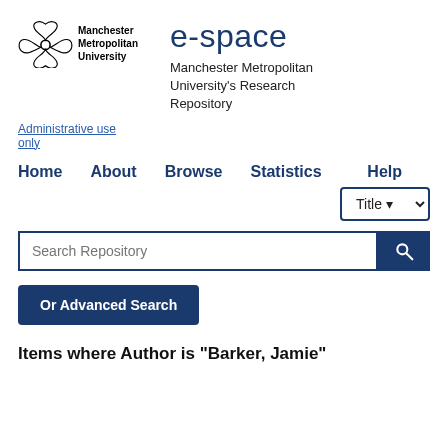[Figure (logo): Manchester Metropolitan University logo with stylized flower/star icon and text 'Manchester Metropolitan University']
e-space
Manchester Metropolitan University's Research Repository
Administrative use only
Home
About
Browse
Statistics
Help
Search Repository
Or Advanced Search
Items where Author is "Barker, Jamie"